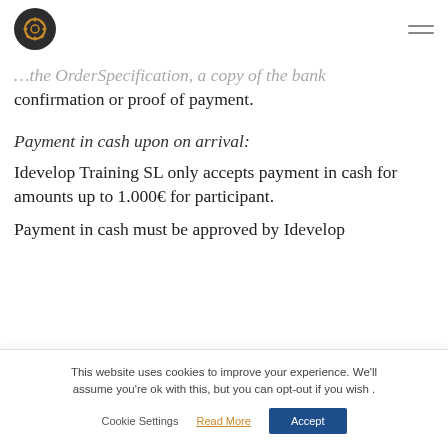[Logo] [Hamburger menu]
…the OrderSpecification, a copy of the bank confirmation or proof of payment.
Payment in cash upon on arrival:
Idevelop Training SL only accepts payment in cash for amounts up to 1.000€ for participant.
Payment in cash must be approved by Idevelop
This website uses cookies to improve your experience. We'll assume you're ok with this, but you can opt-out if you wish .
Cookie Settings  Read More  Accept